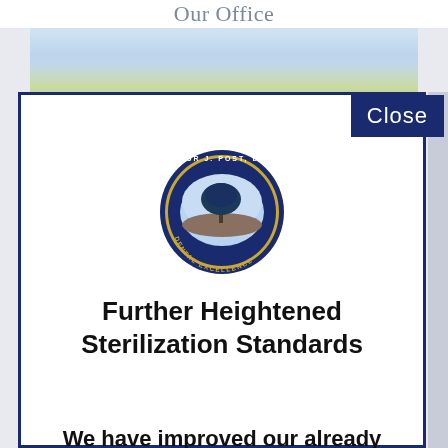Our Office
[Figure (photo): Outdoor scene with trees and sky, landscape background photo]
[Figure (logo): Arthur J. Post D.D.S. Dental Excellence circular logo with tree image in oval center]
Further Heightened Sterilization Standards
We have improved our already extremely rigid sterilization